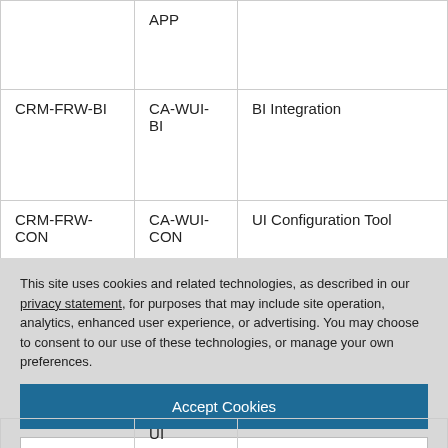|  | APP |  |
| CRM-FRW-BI | CA-WUI-BI | BI Integration |
| CRM-FRW-CON | CA-WUI-CON | UI Configuration Tool |
|  | UI |  |
This site uses cookies and related technologies, as described in our privacy statement, for purposes that may include site operation, analytics, enhanced user experience, or advertising. You may choose to consent to our use of these technologies, or manage your own preferences.
Accept Cookies
More Information
Privacy Policy | Powered by: TrustArc